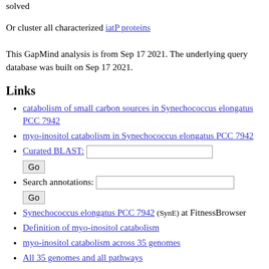solved
Or cluster all characterized iatP proteins
This GapMind analysis is from Sep 17 2021. The underlying query database was built on Sep 17 2021.
Links
catabolism of small carbon sources in Synechococcus elongatus PCC 7942
myo-inositol catabolism in Synechococcus elongatus PCC 7942
Curated BLAST: [text input] Go
Search annotations: [text input] Go
Synechococcus elongatus PCC 7942 (SynE) at FitnessBrowser
Definition of myo-inositol catabolism
myo-inositol catabolism across 35 genomes
All 35 genomes and all pathways
GapMind for amino acid biosynthesis